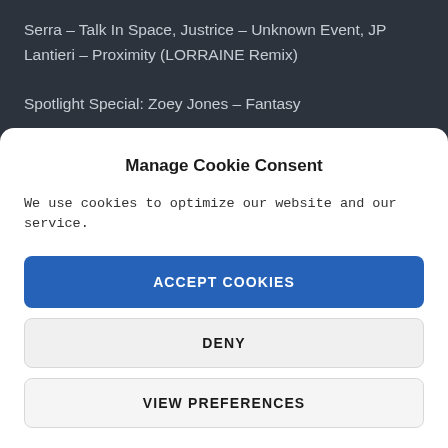Serra – Talk In Space, Justrice – Unknown Event, JP Lantieri – Proximity (LORRAINE Remix)
Spotlight Special: Zoey Jones – Fantasy
Jus Tadi:
Manage Cookie Consent
We use cookies to optimize our website and our service.
ACCEPT COOKIES
DENY
VIEW PREFERENCES